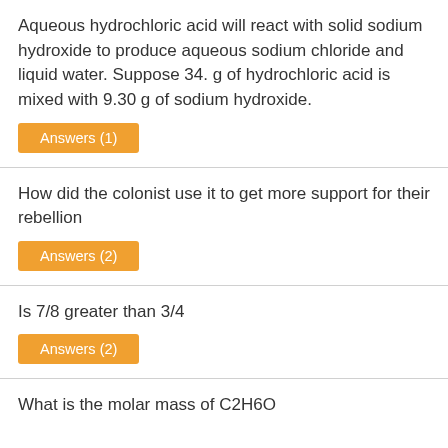Aqueous hydrochloric acid will react with solid sodium hydroxide to produce aqueous sodium chloride and liquid water. Suppose 34. g of hydrochloric acid is mixed with 9.30 g of sodium hydroxide.
Answers (1)
How did the colonist use it to get more support for their rebellion
Answers (2)
Is 7/8 greater than 3/4
Answers (2)
What is the molar mass of C2H6O